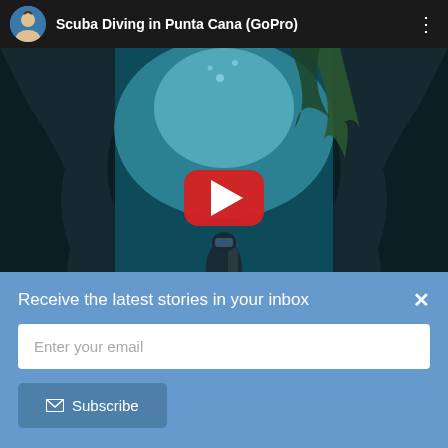[Figure (screenshot): YouTube video thumbnail showing a scuba diver underwater in Punta Cana, with a play button overlay. Video title: Scuba Diving in Punta Cana (GoPro). The thumbnail shows a diver with yellow-green fins swimming through an underwater rocky channel with teal/turquoise water and light filtering from above.]
Receive the latest stories in your inbox
Enter your email
Subscribe